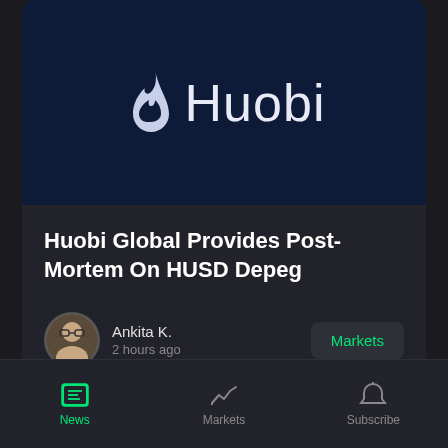[Figure (logo): Huobi logo: white flame icon and 'Huobi' text on dark navy background]
Huobi Global Provides Post-Mortem On HUSD Depeg
Ankita K.
2 hours ago
Markets
News | Markets | Subscribe